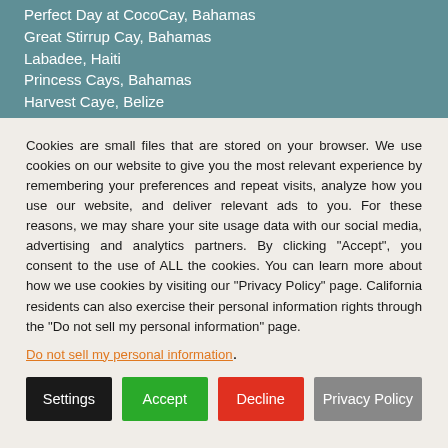Perfect Day at CocoCay, Bahamas
Great Stirrup Cay, Bahamas
Labadee, Haiti
Princess Cays, Bahamas
Harvest Caye, Belize
Amber Cove, Dominican Republic
Cookies are small files that are stored on your browser. We use cookies on our website to give you the most relevant experience by remembering your preferences and repeat visits, analyze how you use our website, and deliver relevant ads to you. For these reasons, we may share your site usage data with our social media, advertising and analytics partners. By clicking "Accept", you consent to the use of ALL the cookies. You can learn more about how we use cookies by visiting our "Privacy Policy" page. California residents can also exercise their personal information rights through the "Do not sell my personal information" page.
Do not sell my personal information.
Settings | Accept | Decline | Privacy Policy